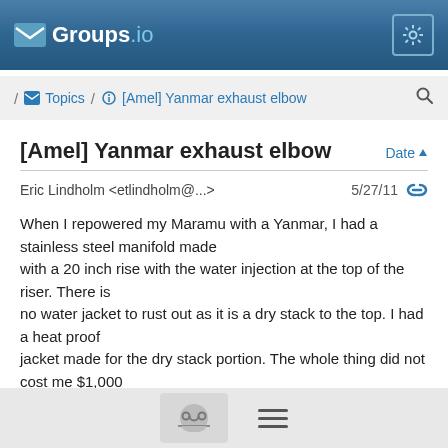Groups.io
/ Topics / [Amel] Yanmar exhaust elbow
[Amel] Yanmar exhaust elbow
Eric Lindholm <etlindholm@...>   5/27/11
When I repowered my Maramu with a Yanmar, I had a stainless steel manifold made with a 20 inch rise with the water injection at the top of the riser. There is no water jacket to rust out as it is a dry stack to the top. I had a heat proof jacket made for the dry stack portion. The whole thing did not cost me $1,000 and will last forever. You might want to look into that